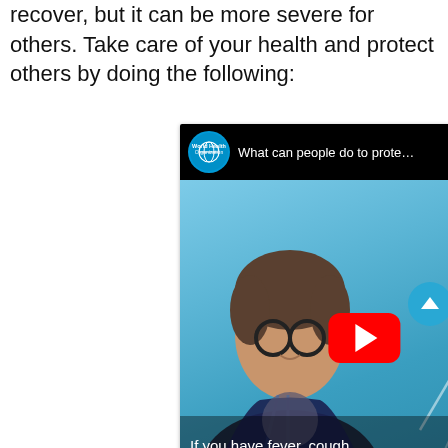recover, but it can be more severe for others. Take care of your health and protect others by doing the following:
[Figure (screenshot): YouTube video embed showing a WHO (World Health Organization) video titled 'What can people do to prote...' with a woman wearing glasses and a WHO lanyard, speaking to camera against a blue background. A red YouTube play button is visible in the center. Subtitle text reads 'If you have fever, cough and difficulty breathing,' with WHO logo in the bottom right. A cyan scroll-up button appears on the right edge.]